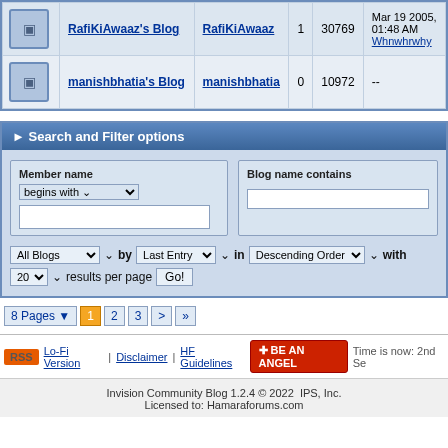|  | Blog Name | Author | Entries | Views | Last Entry |
| --- | --- | --- | --- | --- | --- |
| [icon] | RafiKiAwaaz's Blog | RafiKiAwaaz | 1 | 30769 | Mar 19 2005, 01:48 AM Whnwhrwhy |
| [icon] | manishbhatia's Blog | manishbhatia | 0 | 10972 | -- |
▶ Search and Filter options
Member name begins with [dropdown] [text input]
Blog name contains [text input]
All Blogs [dropdown] by Last Entry [dropdown] in Descending Order [dropdown] with 20 [dropdown] results per page Go!
8 Pages ▼  1  2  3  >  »
RSS  Lo-Fi Version | Disclaimer | HF Guidelines  + BE AN ANGEL  Time is now: 2nd Se
Invision Community Blog 1.2.4 © 2022  IPS, Inc.
Licensed to: Hamaraforums.com